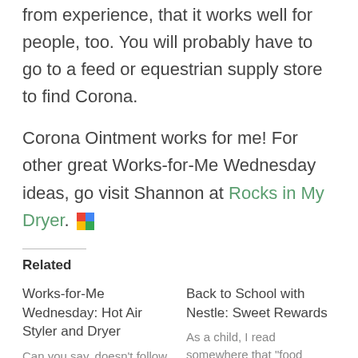from experience, that it works well for people, too. You will probably have to go to a feed or equestrian supply store to find Corona.
Corona Ointment works for me! For other great Works-for-Me Wednesday ideas, go visit Shannon at Rocks in My Dryer.
Related
Works-for-Me Wednesday: Hot Air Styler and Dryer
Can you say, doesn't follow directions well? Since I obviously missed the theme of
Back to School with Nestle: Sweet Rewards
As a child, I read somewhere that "food should never be used as a reward or a punishment." My